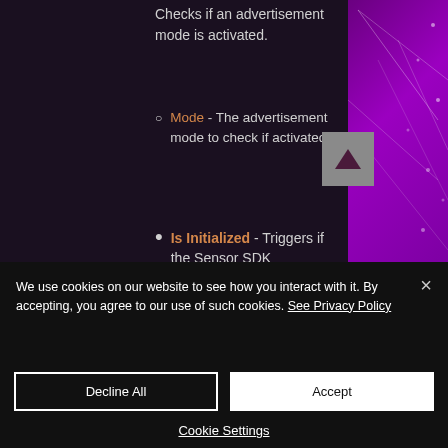Checks if an advertisement mode is activated.
Mode - The advertisement mode to check if activated.
Is Initialized - Triggers if the Sensor SDK...
We use cookies on our website to see how you interact with it. By accepting, you agree to our use of such cookies. See Privacy Policy
Decline All
Accept
Cookie Settings